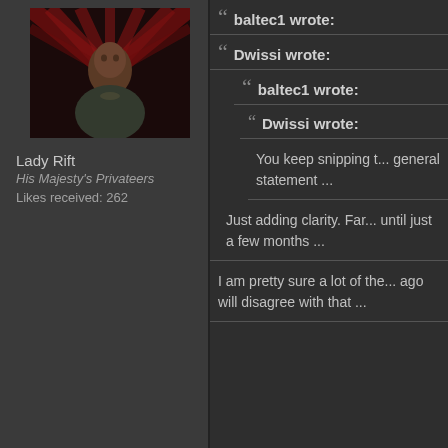[Figure (photo): Avatar image of Lady Rift, showing a fantasy/game character with dark background and red light rays]
Lady Rift
His Majesty's Privateers
Likes received: 262
baltec1 wrote:
Dwissi wrote:
baltec1 wrote:
Dwissi wrote:
You keep snipping t... general statement ...
Just adding clarity. Far... until just a few months ...
I am pretty sure a lot of the... ago will disagree with that ...